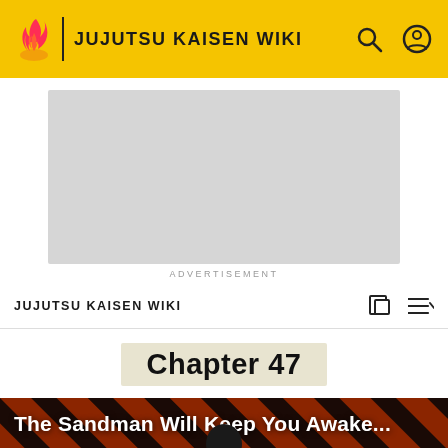JUJUTSU KAISEN WIKI
[Figure (screenshot): Advertisement placeholder box (gray rectangle)]
ADVERTISEMENT
JUJUTSU KAISEN WIKI
Chapter 47
[Figure (photo): Hero banner with diagonal red and black stripes pattern and a figure of a person, with text 'The Sandman Will Keep You Awake...']